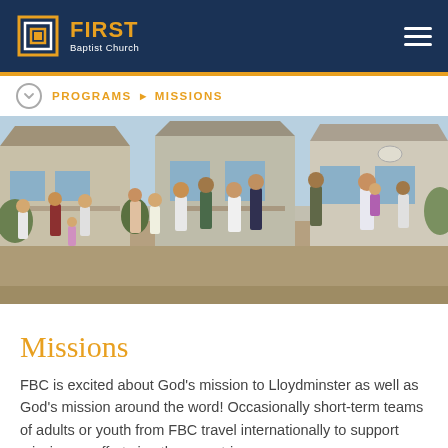FIRST Baptist Church
PROGRAMS ▶ MISSIONS
[Figure (photo): Group of adults and children gathered outdoors in a courtyard in front of modest Eastern European-style houses, on a sunny day during a mission trip.]
Missions
FBC is excited about God's mission to Lloydminster as well as God's mission around the word! Occasionally short-term teams of adults or youth from FBC travel internationally to support missionary efforts in other countries.